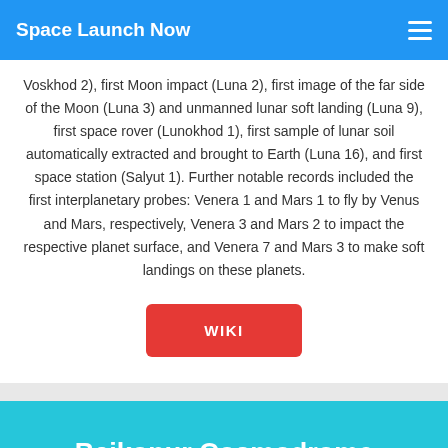Space Launch Now
Voskhod 2), first Moon impact (Luna 2), first image of the far side of the Moon (Luna 3) and unmanned lunar soft landing (Luna 9), first space rover (Lunokhod 1), first sample of lunar soil automatically extracted and brought to Earth (Luna 16), and first space station (Salyut 1). Further notable records included the first interplanetary probes: Venera 1 and Mars 1 to fly by Venus and Mars, respectively, Venera 3 and Mars 2 to impact the respective planet surface, and Venera 7 and Mars 3 to make soft landings on these planets.
[Figure (other): WIKI button - red rounded rectangle button with white text]
Baikonur Cosmodrome